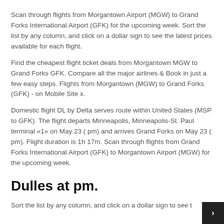Scan through flights from Morgantown Airport (MGW) to Grand Forks International Airport (GFK) for the upcoming week. Sort the list by any column, and click on a dollar sign to see the latest prices available for each flight.
Find the cheapest flight ticket deals from Morgantown MGW to Grand Forks GFK. Compare all the major airlines & Book in just a few easy steps. Flights from Morgantown (MGW) to Grand Forks (GFK) - on Mobile Site x.
Domestic flight DL by Delta serves route within United States (MSP to GFK). The flight departs Minneapolis, Minneapolis-St. Paul terminal «1» on May 23 ( pm) and arrives Grand Forks on May 23 ( pm). Flight duration is 1h 17m. Scan through flights from Grand Forks International Airport (GFK) to Morgantown Airport (MGW) for the upcoming week.
Dulles at pm.
Sort the list by any column, and click on a dollar sign to see the latest prices available for each flight. Compare if and fl